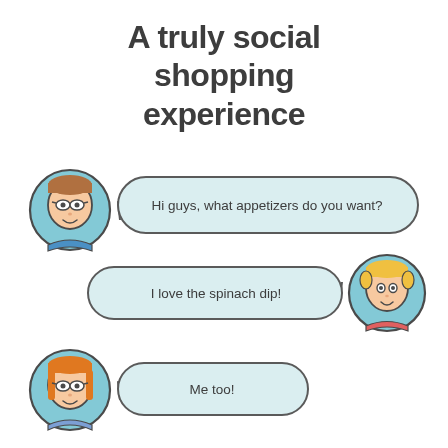A truly social shopping experience
[Figure (illustration): Chat interface illustration showing three avatar characters exchanging messages about appetizers. First avatar (person with glasses) says 'Hi guys, what appetizers do you want?'. Second avatar (person with yellow hair) replies 'I love the spinach dip!'. Third avatar (person with glasses and long hair) says 'Me too!'. Speech bubbles are rounded rectangles with light teal fill and dark grey outline.]